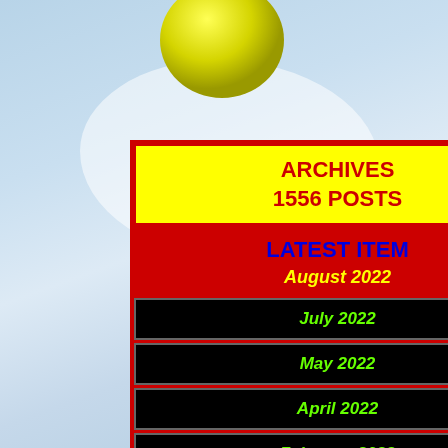[Figure (illustration): Yellow tennis ball or sphere at top of page against sky background]
ARCHIVES
1556 POSTS
LATEST ITEM
August 2022
July 2022
May 2022
April 2022
February 2022
January 2022
November 2021
sex. It's about the of unfulfilling sup once, then when y too shell-shocked their relationships the vouchsafed ac complete stranger cable TV distorted about people by w understanding of y
Saturday, 9 Febru
Outsourcing tor
The CIA's se outside cont terrorist sus director and Many of the rather indivi However, la officials sai According t